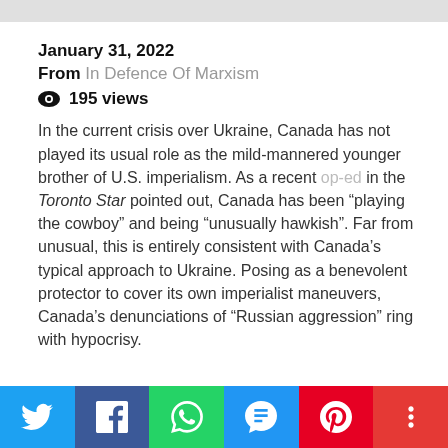January 31, 2022
From In Defence Of Marxism
195 views
In the current crisis over Ukraine, Canada has not played its usual role as the mild-mannered younger brother of U.S. imperialism. As a recent op-ed in the Toronto Star pointed out, Canada has been “playing the cowboy” and being “unusually hawkish”. Far from unusual, this is entirely consistent with Canada’s typical approach to Ukraine. Posing as a benevolent protector to cover its own imperialist maneuvers, Canada’s denunciations of “Russian aggression” ring with hypocrisy.
Twitter | Facebook | WhatsApp | SMS | Pinterest | More